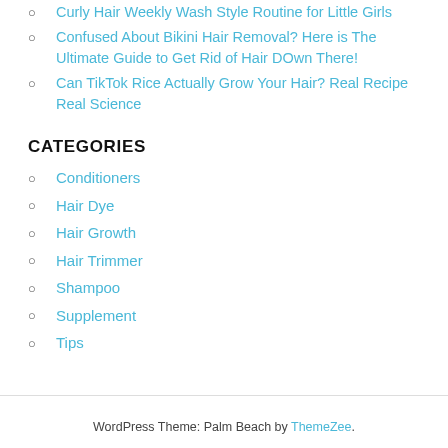Curly Hair Weekly Wash Style Routine for Little Girls
Confused About Bikini Hair Removal? Here is The Ultimate Guide to Get Rid of Hair DOwn There!
Can TikTok Rice Actually Grow Your Hair? Real Recipe Real Science
CATEGORIES
Conditioners
Hair Dye
Hair Growth
Hair Trimmer
Shampoo
Supplement
Tips
WordPress Theme: Palm Beach by ThemeZee.